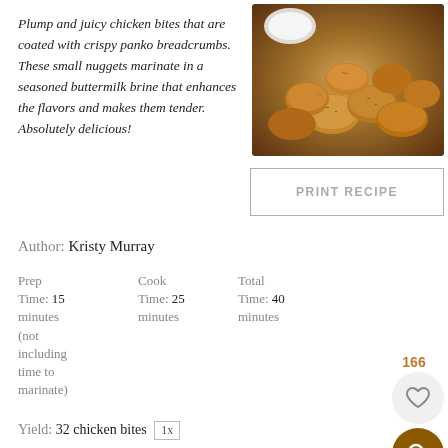Plump and juicy chicken bites that are coated with crispy panko breadcrumbs. These small nuggets marinate in a seasoned buttermilk brine that enhances the flavors and makes them tender. Absolutely delicious!
[Figure (photo): Photo of crispy panko-coated chicken bites with dipping sauce]
PRINT RECIPE
Author: Kristy Murray
Prep Time: 15 minutes (not including time to marinate)
Cook Time: 25 minutes
Total Time: 40 minutes
Yield: 32 chicken bites 1x